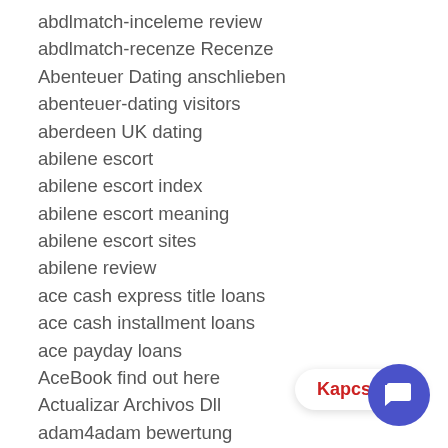abdlmatch-inceleme review
abdlmatch-recenze Recenze
Abenteuer Dating anschlieben
abenteuer-dating visitors
aberdeen UK dating
abilene escort
abilene escort index
abilene escort meaning
abilene escort sites
abilene review
ace cash express title loans
ace cash installment loans
ace payday loans
AceBook find out here
Actualizar Archivos Dll
adam4adam bewertung
adam4adam chat
Adam4Adam dating
adam4adam dating memes
adam4adam david muir dating